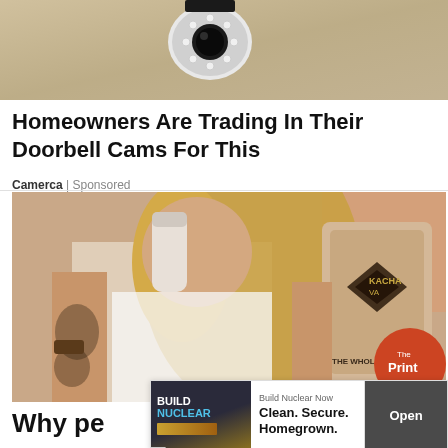[Figure (photo): Close-up of a security camera mounted on a wall or ceiling, showing the camera lens with LED lights around it]
Homeowners Are Trading In Their Doorbell Cams For This
Camerca | Sponsored
[Figure (photo): Woman with long wavy blonde hair and tattoos on her arms, drinking from a cup and holding a large bag of Kachava nutritional supplement. The Print logo badge visible in lower right corner.]
[Figure (infographic): Advertisement overlay: Build Nuclear Now — Clean. Secure. Homegrown. with Open button]
Why pe